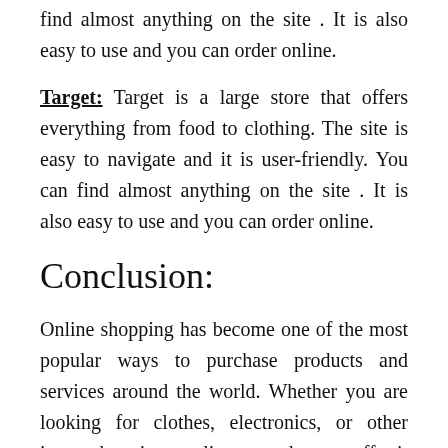find almost anything on the site . It is also easy to use and you can order online.
Target: Target is a large store that offers everything from food to clothing. The site is easy to navigate and it is user-friendly. You can find almost anything on the site . It is also easy to use and you can order online.
Conclusion:
Online shopping has become one of the most popular ways to purchase products and services around the world. Whether you are looking for clothes, electronics, or other items, there is an online store that can offer it all in a convenient manner that allows you to do your shopping